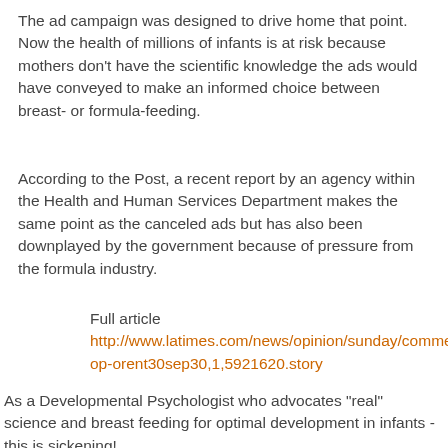The ad campaign was designed to drive home that point. Now the health of millions of infants is at risk because mothers don't have the scientific knowledge the ads would have conveyed to make an informed choice between breast- or formula-feeding.
According to the Post, a recent report by an agency within the Health and Human Services Department makes the same point as the canceled ads but has also been downplayed by the government because of pressure from the formula industry.
Full article http://www.latimes.com/news/opinion/sunday/commentary/la-op-orent30sep30,1,5921620.story
As a Developmental Psychologist who advocates "real" science and breast feeding for optimal development in infants - this is sickening!